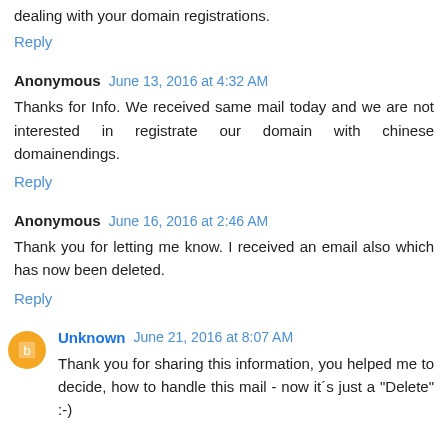dealing with your domain registrations.
Reply
Anonymous June 13, 2016 at 4:32 AM
Thanks for Info. We received same mail today and we are not interested in registrate our domain with chinese domainendings.
Reply
Anonymous June 16, 2016 at 2:46 AM
Thank you for letting me know. I received an email also which has now been deleted.
Reply
Unknown June 21, 2016 at 8:07 AM
Thank you for sharing this information, you helped me to decide, how to handle this mail - now it´s just a "Delete" :-)